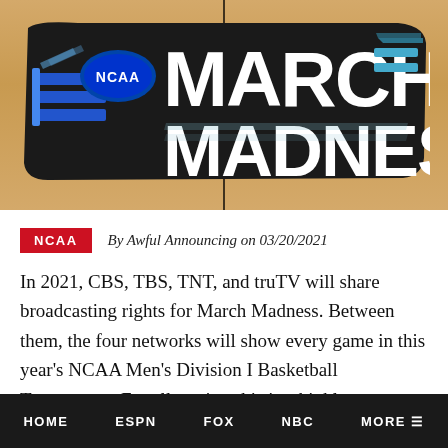[Figure (photo): NCAA March Madness logo on a basketball court floor with hardwood surface and center court line visible]
NCAA   By Awful Announcing on 03/20/2021
In 2021, CBS, TBS, TNT, and truTV will share broadcasting rights for March Madness. Between them, the four networks will show every game in this year's NCAA Men's Division I Basketball Tournament. For all parties, this is a highly-
HOME   ESPN   FOX   NBC   MORE